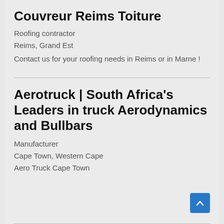Couvreur Reims Toiture
Roofing contractor
Reims, Grand Est
Contact us for your roofing needs in Reims or in Marne !
Aerotruck | South Africa’s Leaders in truck Aerodynamics and Bullbars
Manufacturer
Cape Town, Western Cape
Aero Truck Cape Town